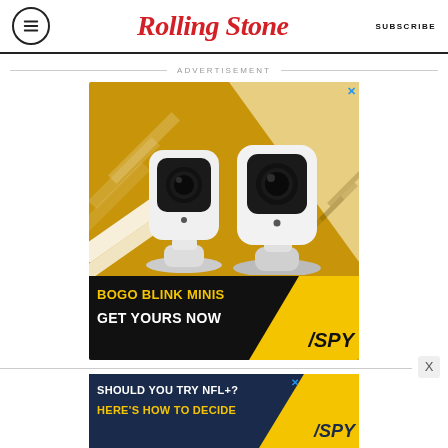Rolling Stone | SUBSCRIBE
ADVERTISEMENT
[Figure (photo): Advertisement for Blink Mini security cameras: two white square cameras on yellow/black background with text 'BOGO BLINK MINIS GET YOURS NOW' and SPY logo]
[Figure (photo): Advertisement banner: 'SHOULD YOU TRY NFL+? HERE'S HOW TO DECIDE' on dark blue background with SPY logo]